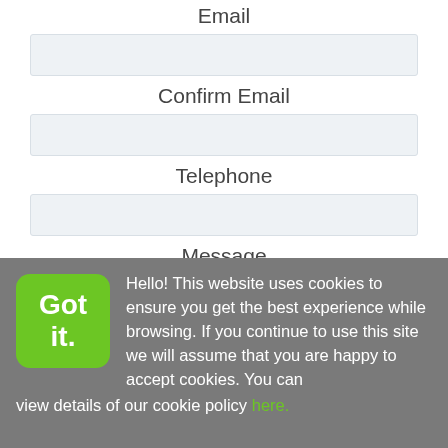Email
Confirm Email
Telephone
Message
Hello! This website uses cookies to ensure you get the best experience while browsing. If you continue to use this site we will assume that you are happy to accept cookies. You can view details of our cookie policy here.